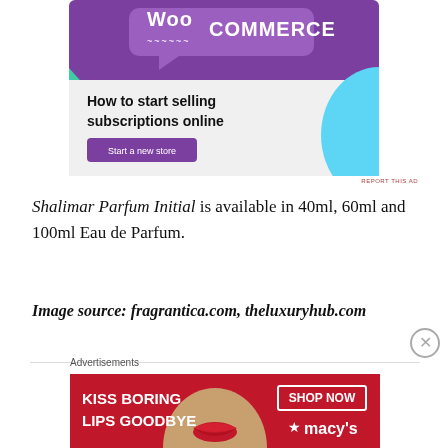[Figure (illustration): WooCommerce advertisement banner: purple header with WooCommerce logo, green triangle shape left, blue curved shape right, bold text 'How to start selling subscriptions online', purple 'Start a new store' button, light gray background]
REPORT THIS AD
Shalimar Parfum Initial is available in 40ml, 60ml and 100ml Eau de Parfum.
Image source: fragrantica.com, theluxuryhub.com
[Figure (illustration): Macy's advertisement banner: red background, bold white text 'KISS BORING LIPS GOODBYE', woman's face with red lips, 'SHOP NOW' button with border, Macy's star logo]
Advertisements